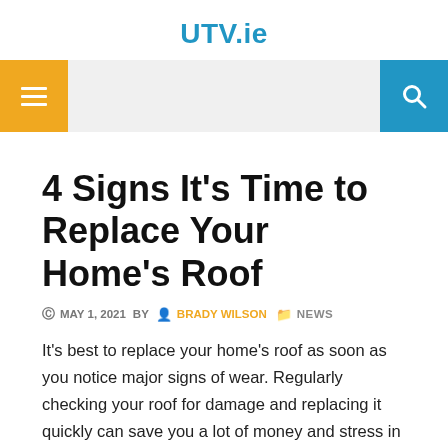UTV.ie
[Figure (other): Navigation bar with orange hamburger menu button on the left and blue search button on the right]
4 Signs It’s Time to Replace Your Home’s Roof
© MAY 1, 2021  BY  BRADY WILSON  NEWS
It’s best to replace your home’s roof as soon as you notice major signs of wear. Regularly checking your roof for damage and replacing it quickly can save you a lot of money and stress in the long run. Here are four things that indicate you need a new roof so